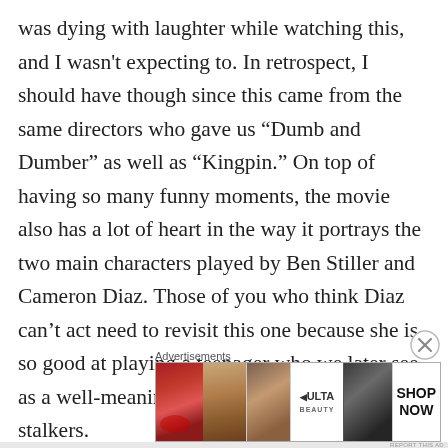was dying with laughter while watching this, and I wasn't expecting to. In retrospect, I should have though since this came from the same directors who gave us “Dumb and Dumber” as well as “Kingpin.” On top of having so many funny moments, the movie also has a lot of heart in the way it portrays the two main characters played by Ben Stiller and Cameron Diaz. Those of you who think Diaz can’t act need to revisit this one because she is so good at playing a teenager who we later see as a well-meaning adult with a few too many stalkers.
[Figure (other): Advertisement banner for ULTA Beauty showing close-up images of lips with red lipstick, a makeup brush, an eye with eyeshadow, ULTA logo, dark smoky eye makeup, and a SHOP NOW call to action button]